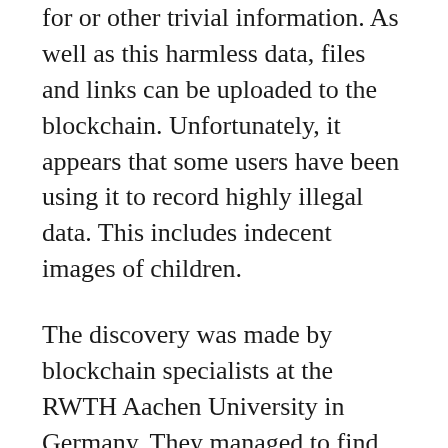for or other trivial information. As well as this harmless data, files and links can be uploaded to the blockchain. Unfortunately, it appears that some users have been using it to record highly illegal data. This includes indecent images of children.
The discovery was made by blockchain specialists at the RWTH Aachen University in Germany. They managed to find over 1,600 files that exist on the Bitcoin blockchain. According to reports in The Guardian, at least eight of these were of sexual content. One of these examples is thought to be depicting a victim of child abuse. Another two contain links to dark web repositories of child pornography. Finally, 142 of files link to other illegal services on the dark web.